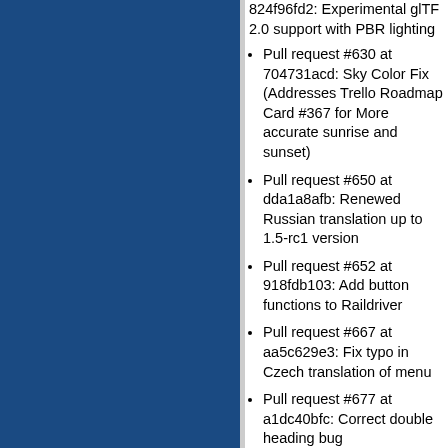Pull request #(partial) at 824f96fd2: Experimental glTF 2.0 support with PBR lighting
Pull request #630 at 704731acd: Sky Color Fix (Addresses Trello Roadmap Card #367 for More accurate sunrise and sunset)
Pull request #650 at dda1a8afb: Renewed Russian translation up to 1.5-rc1 version
Pull request #652 at 918fdb103: Add button functions to Raildriver
Pull request #667 at aa5c629e3: Fix typo in Czech translation of menu
Pull request #677 at a1dc40bfc: Correct double heading bug
Pull request #678 at c19e7184e: Refactor TrainCar part 1
Pull request #684 at (partial)